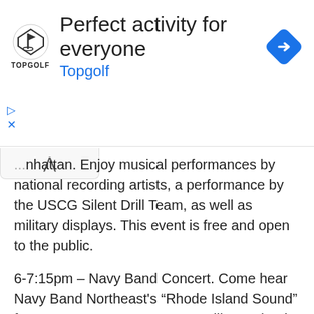[Figure (infographic): Topgolf advertisement banner with logo, text 'Perfect activity for everyone', 'Topgolf' subtitle in blue, and a blue navigation diamond icon on the right.]
...nhattan. Enjoy musical performances by national recording artists, a performance by the USCG Silent Drill Team, as well as military displays. This event is free and open to the public.
6-7:15pm – Navy Band Concert. Come hear Navy Band Northeast's “Rhode Island Sound” from 6-7:15pm at a concert at Military Island in Times Square. This event is free and open to the public.
Sunday, May 29th
11am – VIP Ship Tours Staten Island for New